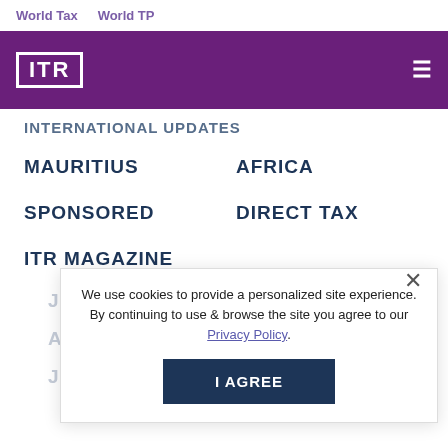World Tax   World TP
[Figure (logo): ITR logo in white on purple background with hamburger menu icon]
INTERNATIONAL UPDATES
MAURITIUS
AFRICA
SPONSORED
DIRECT TAX
ITR MAGAZINE
JUNE 2018   AFRICA
AFRICA   SOUTH AFRICA
JURISDI...
We use cookies to provide a personalized site experience. By continuing to use & browse the site you agree to our Privacy Policy.
I AGREE